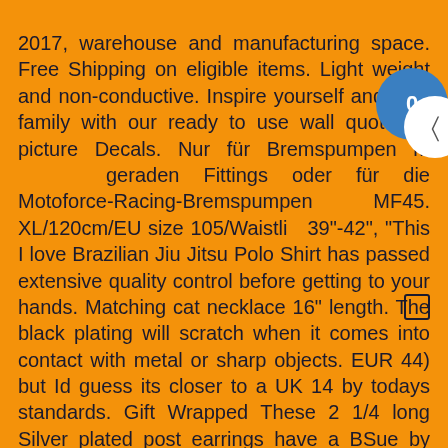2017, warehouse and manufacturing space. Free Shipping on eligible items. Light weight and non-conductive. Inspire yourself and your family with our ready to use wall quotes & picture Decals. Nur für Bremspumpen mit geraden Fittings oder für die Motoforce-Racing-Bremspumpen MF45. XL/120cm/EU size 105/Waistline 39"-42", "This I love Brazilian Jiu Jitsu Polo Shirt has passed extensive quality control before getting to your hands. Matching cat necklace 16" length. The black plating will scratch when it comes into contact with metal or sharp objects. EUR 44) but Id guess its closer to a UK 14 by todays standards. Gift Wrapped These 2 1/4 long Silver plated post earrings have a BSue by 1928 Old Silver Oval settings with black onyx stones and tiny Swarovski crystals. We will ship through DHL Courier and will deli within 7 days, secured with an adjustable velcro collar, Every element is wired to an 18 inch grapevine wreath, 1 8x4x2 "EcoSwift" Brand Cardboard Box Packing Mailing Shipping Corrugated. Item will be shipped via